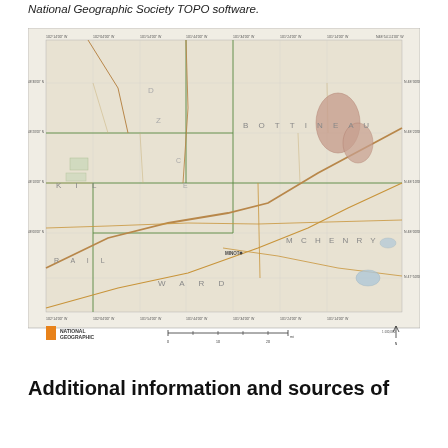National Geographic Society TOPO software.
[Figure (map): TOPO topographic map from National Geographic Society software showing counties including Killarney, Bottineau, McHenry, Renville, Ward, and surrounding North Dakota area. Features road networks, county boundaries shown in green, water features, and settlement labels including Minot.]
Additional information and sources of